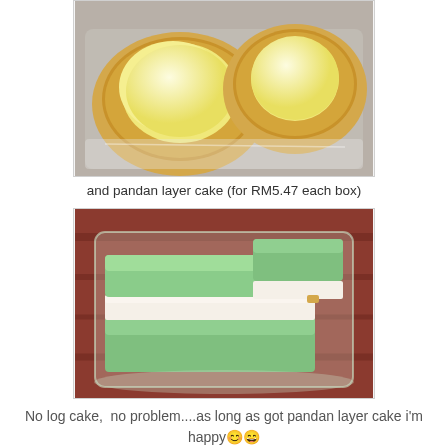[Figure (photo): Two egg tarts in a clear plastic tray, showing round golden pastry shells with smooth pale yellow custard filling]
and pandan layer cake (for RM5.47 each box)
[Figure (photo): Green pandan layer cake slices in a clear plastic container, showing alternating green jelly and white sponge layers on a red wooden surface]
No log cake,  no problem....as long as got pandan layer cake i'm happy😊😄